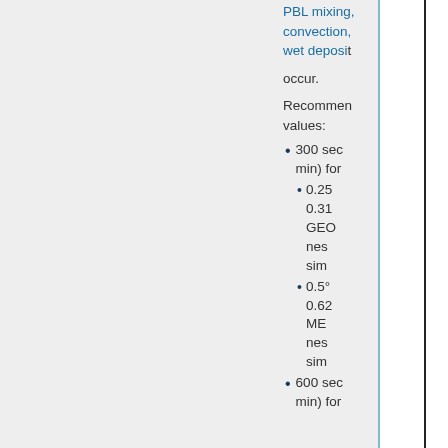PBL mixing, convection, wet deposition occur.
Recommended values:
300 sec (5 min) for
0.25° or 0.3125° GEOS nested simulations
0.5° or 0.625° MERRA nested simulations
600 sec (10 min) for